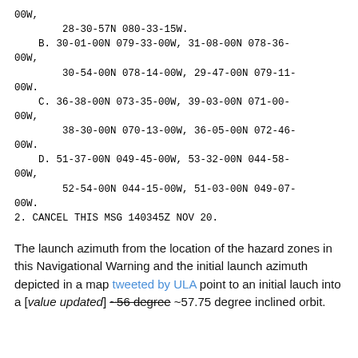00W,
        28-30-57N 080-33-15W.
    B. 30-01-00N 079-33-00W, 31-08-00N 078-36-00W,
        30-54-00N 078-14-00W, 29-47-00N 079-11-00W.
    C. 36-38-00N 073-35-00W, 39-03-00N 071-00-00W,
        38-30-00N 070-13-00W, 36-05-00N 072-46-00W.
    D. 51-37-00N 049-45-00W, 53-32-00N 044-58-00W,
        52-54-00N 044-15-00W, 51-03-00N 049-07-00W.
2. CANCEL THIS MSG 140345Z NOV 20.
The launch azimuth from the location of the hazard zones in this Navigational Warning and the initial launch azimuth depicted in a map tweeted by ULA point to an initial lauch into a [value updated] ~56 degree ~57.75 degree inclined orbit.